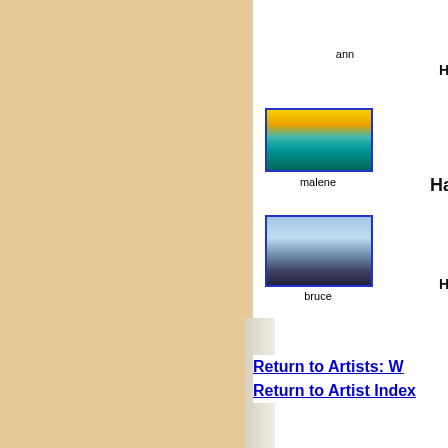ann
[Figure (photo): Aerial or seascape painting with golden sunset sky and turquoise ocean waters]
malene
[Figure (photo): Close-up photo of a whale tail (fluke) above water surface against light sky]
bruce
Return to Artists: W
Return to Artist Index